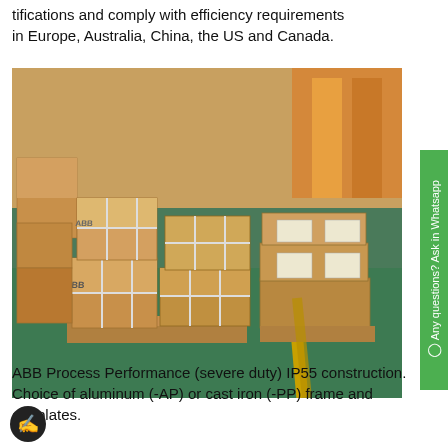tifications and comply with efficiency requirements in Europe, Australia, China, the US and Canada.
[Figure (photo): Warehouse photo showing multiple pallets stacked with large cardboard boxes branded ABB, strapped with white plastic bands, on wooden pallets, on a green floor with yellow lines, in an industrial storage facility.]
ABB Process Performance (severe duty) IP55 construction. Choice of aluminum (-AP) or cast iron (-PP) frame and endplates.